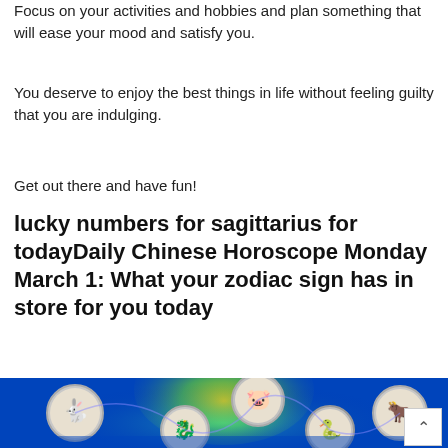Focus on your activities and hobbies and plan something that will ease your mood and satisfy you.
You deserve to enjoy the best things in life without feeling guilty that you are indulging.
Get out there and have fun!
lucky numbers for sagittarius for todayDaily Chinese Horoscope Monday March 1: What your zodiac sign has in store for you today
[Figure (illustration): Chinese zodiac wheel illustration on blue background with circular medallions showing animal signs including rabbit, dragon, pig, snake, and ox, with glowing yellow/green energy effects.]